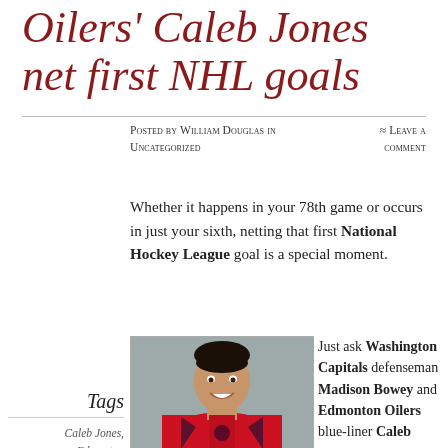Oilers' Caleb Jones net first NHL goals
Posted by William Douglas in Uncategorized
≈ Leave a comment
Whether it happens in your 78th game or occurs in just your sixth, netting that first National Hockey League goal is a special moment.
Tags
Caleb Jones, Edmonton Oilers, Madison Bowey, Washington Capitals
[Figure (photo): Headshot of a young man in a red Washington Capitals NHL jersey, smiling, against a grey background]
Just ask Washington Capitals defenseman Madison Bowey and Edmonton Oilers blue-liner Caleb